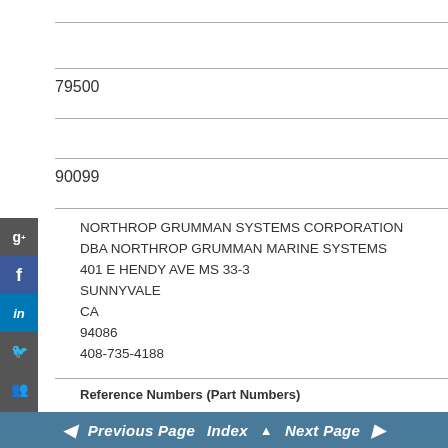79500
90099
NORTHROP GRUMMAN SYSTEMS CORPORATION DBA NORTHROP GRUMMAN MARINE SYSTEMS 401 E HENDY AVE MS 33-3 SUNNYVALE CA 94086 408-735-4188
Reference Numbers (Part Numbers)
Previous Page   Index   Next Page